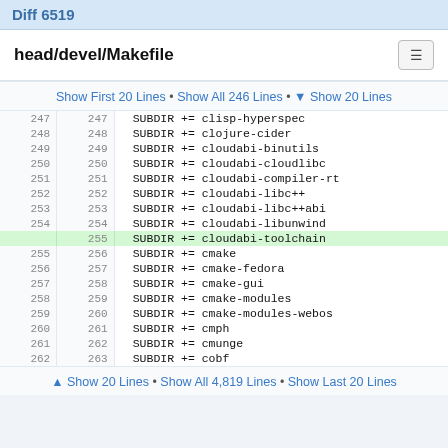Diff 6519
head/devel/Makefile
Show First 20 Lines • Show All 246 Lines • ▼ Show 20 Lines
| old | new | code |
| --- | --- | --- |
| 247 | 247 | SUBDIR += clisp-hyperspec |
| 248 | 248 | SUBDIR += clojure-cider |
| 249 | 249 | SUBDIR += cloudabi-binutils |
| 250 | 250 | SUBDIR += cloudabi-cloudlibc |
| 251 | 251 | SUBDIR += cloudabi-compiler-rt |
| 252 | 252 | SUBDIR += cloudabi-libc++ |
| 253 | 253 | SUBDIR += cloudabi-libc++abi |
| 254 | 254 | SUBDIR += cloudabi-libunwind |
|  | 255 | SUBDIR += cloudabi-toolchain |
| 255 | 256 | SUBDIR += cmake |
| 256 | 257 | SUBDIR += cmake-fedora |
| 257 | 258 | SUBDIR += cmake-gui |
| 258 | 259 | SUBDIR += cmake-modules |
| 259 | 260 | SUBDIR += cmake-modules-webos |
| 260 | 261 | SUBDIR += cmph |
| 261 | 262 | SUBDIR += cmunge |
| 262 | 263 | SUBDIR += cobf |
▲ Show 20 Lines • Show All 4,819 Lines • Show Last 20 Lines